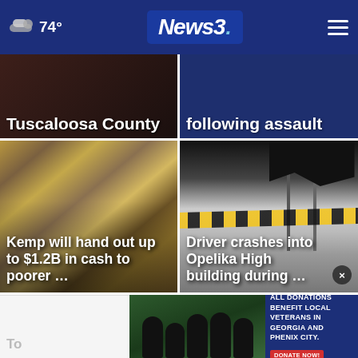74° News3
[Figure (screenshot): News article card: Tuscaloosa County (partially cropped at top)]
[Figure (screenshot): News article card: following assault (partially cropped at top)]
[Figure (photo): Money/cash bills background - article: Kemp will hand out up to $1.2B in cash to poorer ...]
[Figure (photo): Crashed building/storefront - article: Driver crashes into Opelika High building during ...]
[Figure (photo): Group of people in dark shirts outdoors]
ALL DONATIONS BENEFIT LOCAL VETERANS IN GEORGIA AND PHENIX CITY. DONATE NOW!